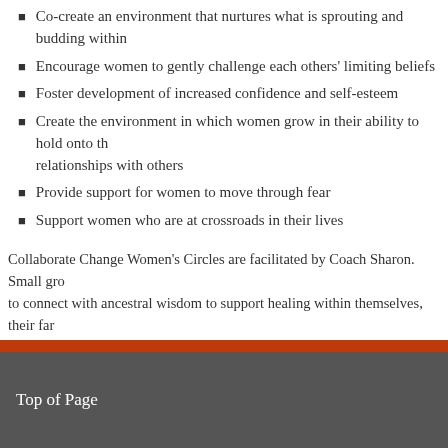Co-create an environment that nurtures what is sprouting and budding within
Encourage women to gently challenge each others' limiting beliefs
Foster development of increased confidence and self-esteem
Create the environment in which women grow in their ability to hold onto their relationships with others
Provide support for women to move through fear
Support women who are at crossroads in their lives
Collaborate Change Women's Circles are facilitated by Coach Sharon. Small groups to connect with ancestral wisdom to support healing within themselves, their families planned for early 2021 and will be held via Zoom videoconferencing technology during the pandemic. Group size will be limited and confidentiality is stressed. If interested in participating in a women's circle, contact Sharon.
Top of Page